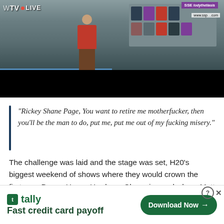[Figure (screenshot): Video screenshot of a wrestling event shown as a live stream (WTV LIVE). A figure in a red shirt stands in a wrestling ring. Audience members visible in background. SSE branding banner visible. Black letterbox bar at bottom of video frame.]
“Rickey Shane Page, You want to retire me motherfucker, then you’ll be the man to do, put me, put me out of my fucking misery.”
The challenge was laid and the stage was set, H20’s biggest weekend of shows where they would crown the first-ever Danny Havoc Hardcore Champion and where Matt Tremont would take his final bow. Accompanied by
[Figure (screenshot): Advertisement for Tally app. White background with Tally logo (green icon with T), tally name in green, tagline 'Fast credit card payoff' in dark green, and a green 'Download Now' button with arrow on the right. Close/help buttons in top right corner.]